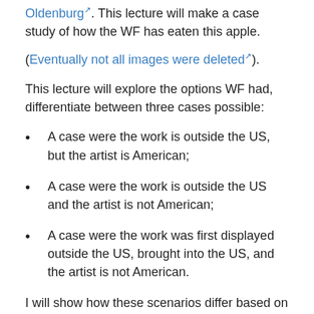Oldenburg. This lecture will make a case study of how the WF has eaten this apple.
(Eventually not all images were deleted).
This lecture will explore the options WF had, differentiate between three cases possible:
A case were the work is outside the US, but the artist is American;
A case were the work is outside the US and the artist is not American;
A case were the work was first displayed outside the US, brought into the US, and the artist is not American.
I will show how these scenarios differ based on Private International Law.
At the end of the lecture I will propose to technical